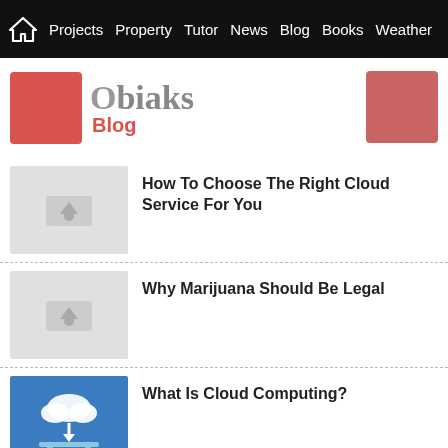Projects | Property | Tutor | News | Blog | Books | Weather
[Figure (logo): Obiaks Blog logo with red box and text]
How To Choose The Right Cloud Service For You
Why Marijuana Should Be Legal
What Is Cloud Computing?
'Social Bookmarking' As An Aggressive And Acceptable Blog Marketing Tactic
Beauty And The Beast - The Answer To Being Beautiful